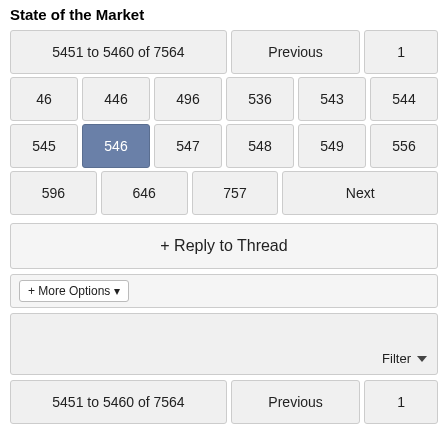State of the Market
5451 to 5460 of 7564  Previous  1
46  446  496  536  543  544
545  546 (active)  547  548  549  556
596  646  757  Next
+ Reply to Thread
+ More Options ▾
Filter ▾
5451 to 5460 of 7564  Previous  1